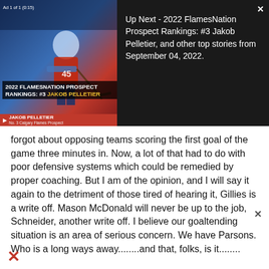[Figure (screenshot): Video overlay showing a hockey player thumbnail with '2022 FLAMESNATION PROSPECT RANKINGS: #3 JAKOB PELLETIER' text and 'Ad 1 of 1 (0:15)' label, alongside 'Up Next' panel with close button]
Up Next - 2022 FlamesNation Prospect Rankings: #3 Jakob Pelletier, and other top stories from September 04, 2022.
forgot about opposing teams scoring the first goal of the game three minutes in. Now, a lot of that had to do with poor defensive systems which could be remedied by proper coaching. But I am of the opinion, and I will say it again to the detriment of those tired of hearing it, Gillies is a write off. Mason McDonald will never be up to the job, Schneider, another write off. I believe our goaltending situation is an area of serious concern. We have Parsons. Who is a long ways away........and that, folks, is it........